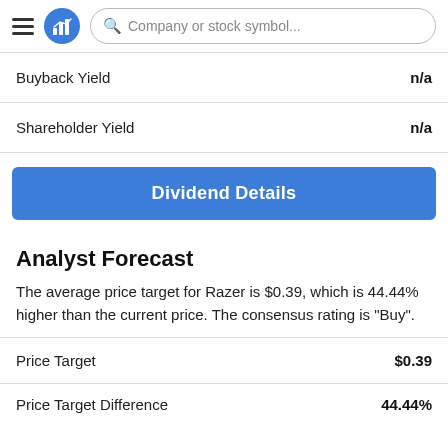Company or stock symbol...
| Label | Value |
| --- | --- |
| Buyback Yield | n/a |
| Shareholder Yield | n/a |
Dividend Details
Analyst Forecast
The average price target for Razer is $0.39, which is 44.44% higher than the current price. The consensus rating is "Buy".
| Label | Value |
| --- | --- |
| Price Target | $0.39 |
| Price Target Difference | 44.44% |